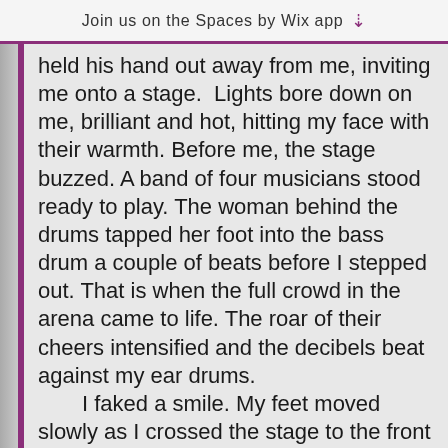Join us on the Spaces by Wix app
held his hand out away from me, inviting me onto a stage.  Lights bore down on me, brilliant and hot, hitting my face with their warmth. Before me, the stage buzzed. A band of four musicians stood ready to play. The woman behind the drums tapped her foot into the bass drum a couple of beats before I stepped out. That is when the full crowd in the arena came to life. The roar of their cheers intensified and the decibels beat against my ear drums.
	I faked a smile. My feet moved slowly as I crossed the stage to the front where the microphone waited for me. It stood there, a reminder that I had work to do.  This was to